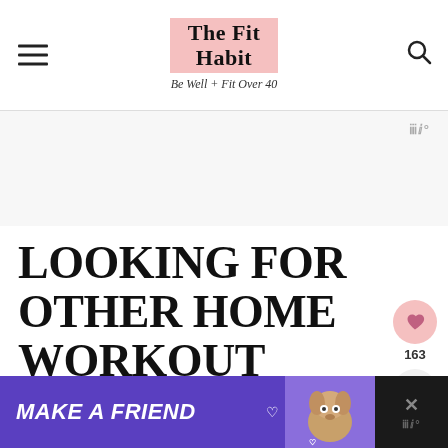The Fit Habit — Be Well + Fit Over 40
LOOKING FOR OTHER HOME WORKOUT IDEAS?  I'VE GOT PLENTY!
[Figure (screenshot): Bottom advertisement banner with purple background reading MAKE A FRIEND with dog image]
[Figure (screenshot): Social share sidebar with heart button showing 163 and share icon]